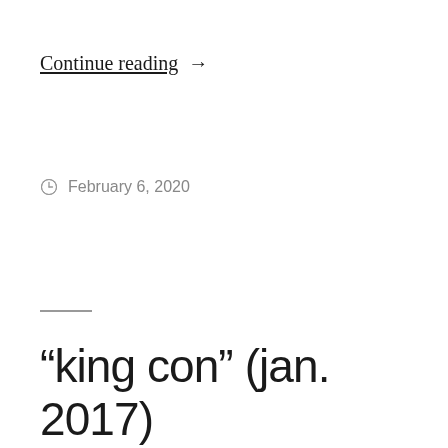Continue reading →
February 6, 2020
“king con” (jan. 2017)